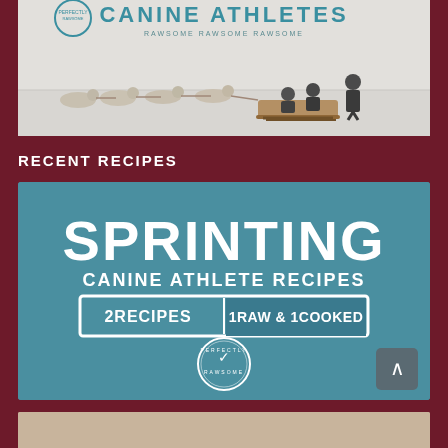[Figure (photo): Photo of sled dogs pulling a sled with riders across a snowy landscape. Text overlay reads 'CANINE ATHLETES' at the top.]
RECENT RECIPES
[Figure (illustration): Teal/blue promotional card reading 'SPRINTING CANINE ATHLETE RECIPES — 2 RECIPES | 1 RAW & 1 COOKED' with a Perfectly Rawsome logo badge at the bottom.]